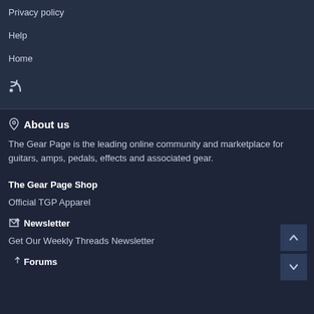Privacy policy
Help
Home
[Figure (other): RSS feed icon]
About us
The Gear Page is the leading online community and marketplace for guitars, amps, pedals, effects and associated gear.
The Gear Page Shop
Official TGP Apparel
Newsletter
Get Our Weekly Threads Newsletter
Forums